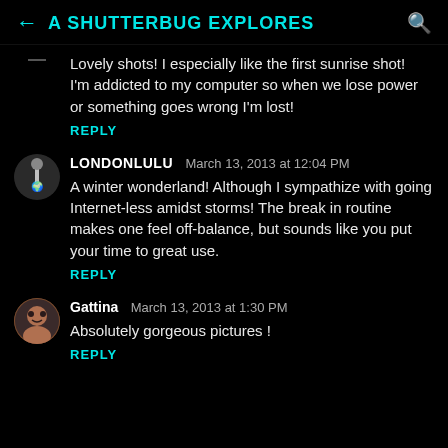A SHUTTERBUG EXPLORES
Lovely shots! I especially like the first sunrise shot!
I'm addicted to my computer so when we lose power or something goes wrong I'm lost!
REPLY
LONDONLULU  March 13, 2013 at 12:04 PM
A winter wonderland! Although I sympathize with going Internet-less amidst storms! The break in routine makes one feel off-balance, but sounds like you put your time to great use.
REPLY
Gattina  March 13, 2013 at 1:30 PM
Absolutely gorgeous pictures !
REPLY